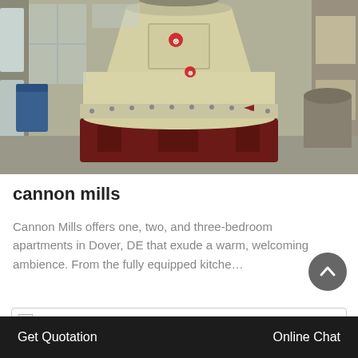[Figure (photo): Industrial cone crusher machine (cream/beige colored) with red base, photographed in a factory/warehouse setting. Large cylindrical grinding machine with bolted flanges and mounting hardware visible.]
cannon mills
Cannon Mills offers one, two, and three-bedroom apartments in Dover, DE that exude a warm, welcoming ambience. From the fully equipped kitche…
Online   Get Quotation   Online Chat